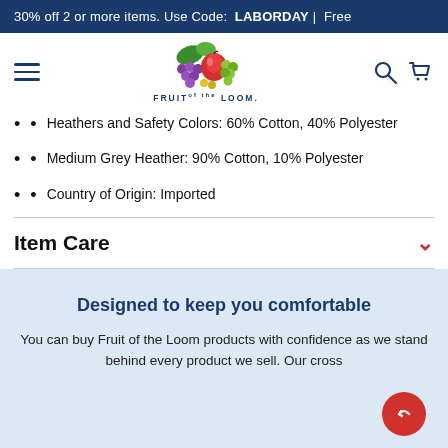30% off 2 or more items. Use Code:  LABORDAY |  Free
[Figure (logo): Fruit of the Loom logo with colorful fruit illustration above the text FRUIT of the LOOM]
Heathers and Safety Colors: 60% Cotton, 40% Polyester
Medium Grey Heather: 90% Cotton, 10% Polyester
Country of Origin: Imported
Item Care
Designed to keep you comfortable
You can buy Fruit of the Loom products with confidence as we stand behind every product we sell. Our cross